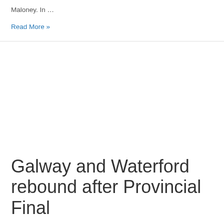Maloney. In …
Read More »
Galway and Waterford rebound after Provincial Final